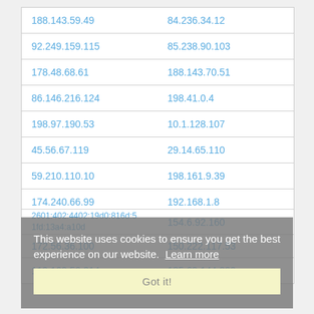| 188.143.59.49 | 84.236.34.12 |
| 92.249.159.115 | 85.238.90.103 |
| 178.48.68.61 | 188.143.70.51 |
| 86.146.216.124 | 198.41.0.4 |
| 198.97.190.53 | 10.1.128.107 |
| 45.56.67.119 | 29.14.65.110 |
| 59.210.110.10 | 198.161.9.39 |
| 174.240.66.99 | 192.168.1.8 |
| 2601:402:4402:19d0:816d:5
1fd:13a4:a10d | 154.6.92.160 |
| 172.56.36.100 | 150.222.117.53 |
| 119.160.56.214 | 185.69.144.202 |
This website uses cookies to ensure you get the best experience on our website. Learn more